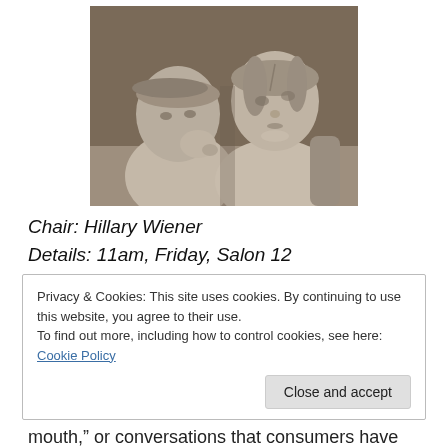[Figure (photo): A photograph of two sculpted figures (stone/ceramic), one whispering into the other's ear, black and white tones]
Chair: Hillary Wiener
Details: 11am, Friday, Salon 12
Privacy & Cookies: This site uses cookies. By continuing to use this website, you agree to their use.
To find out more, including how to control cookies, see here: Cookie Policy
mouth," or conversations that consumers have about